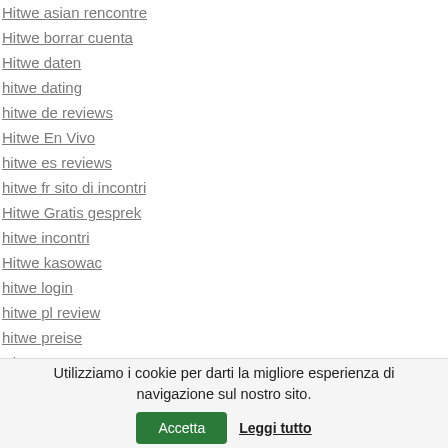Hitwe asian rencontre
Hitwe borrar cuenta
Hitwe daten
hitwe dating
hitwe de reviews
Hitwe En Vivo
hitwe es reviews
hitwe fr sito di incontri
Hitwe Gratis gesprek
hitwe incontri
Hitwe kasowac
hitwe login
hitwe pl review
hitwe preise
Hitwe pure
Hitwe review
Utilizziamo i cookie per darti la migliore esperienza di navigazione sul nostro sito. Accetta Leggi tutto